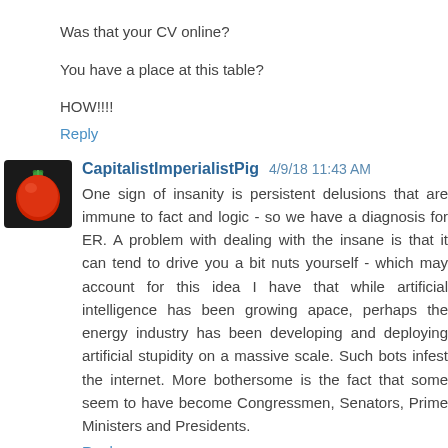Was that your CV online?
You have a place at this table?
HOW!!!!
Reply
[Figure (photo): Avatar image of a red fruit/tomato with green leaves on dark background]
CapitalistImperialistPig  4/9/18 11:43 AM
One sign of insanity is persistent delusions that are immune to fact and logic - so we have a diagnosis for ER. A problem with dealing with the insane is that it can tend to drive you a bit nuts yourself - which may account for this idea I have that while artificial intelligence has been growing apace, perhaps the energy industry has been developing and deploying artificial stupidity on a massive scale. Such bots infest the internet. More bothersome is the fact that some seem to have become Congressmen, Senators, Prime Ministers and Presidents.
Reply